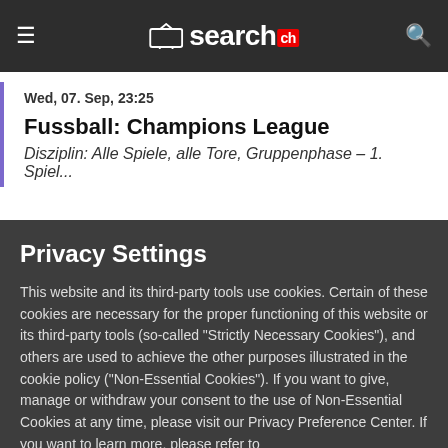search.ch
Wed, 07. Sep, 23:25
Fussball: Champions League
Disziplin: Alle Spiele, alle Tore, Gruppenphase – 1. Spiel...
Privacy Settings
This website and its third-party tools use cookies. Certain of these cookies are necessary for the proper functioning of this website or its third-party tools (so-called "Strictly Necessary Cookies"), and others are used to achieve the other purposes illustrated in the cookie policy ("Non-Essential Cookies"). If you want to give, manage or withdraw your consent to the use of Non-Essential Cookies at any time, please visit our Privacy Preference Center. If you want to learn more, please refer to
Swisscom Directories AG Cookie Policy